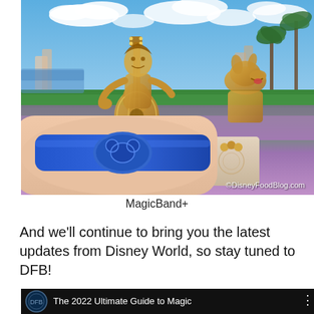[Figure (photo): Photo of a hand wearing a blue Disney MagicBand+ wristband in front of golden statues of Miguel (from Coco) playing guitar and Dante the dog at Disney World, with purple and pink flower gardens, blue sky, and palm trees in the background. Watermark reads ©DisneyFoodBlog.com]
MagicBand+
And we'll continue to bring you the latest updates from Disney World, so stay tuned to DFB!
[Figure (screenshot): Bottom portion of a video thumbnail showing a dark background with a circular Disney logo and the text 'The 2022 Ultimate Guide to Magic' with a menu dots icon]